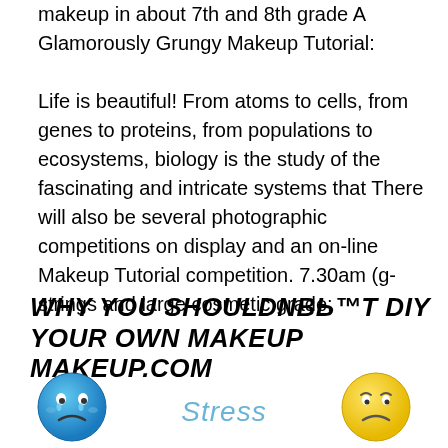makeup in about 7th and 8th grade A Glamorously Grungy Makeup Tutorial:

Life is beautiful! From atoms to cells, from genes to proteins, from populations to ecosystems, biology is the study of the fascinating and intricate systems that There will also be several photographic competitions on display and an on-line Makeup Tutorial competition. 7.30am (g-strings and large cosmetic grade;
WHY YOU SHOULDNвЂ™T DIY YOUR OWN MAKEUP MAKEUP.COM
[Figure (illustration): Blue crying sad face emoji, word 'Stress' in light blue italic text, and yellow sad face emoji arranged horizontally]